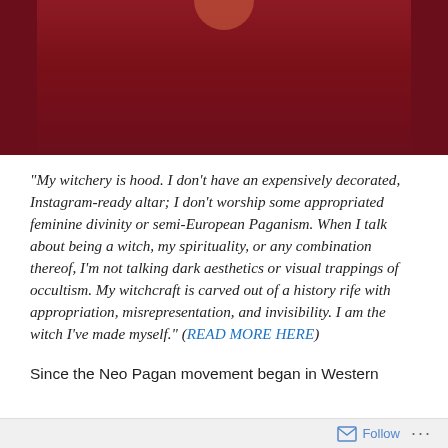[Figure (photo): Photo with dark red/crimson background, partial view of a person]
“My witchery is hood. I don’t have an expensively decorated, Instagram-ready altar; I don’t worship some appropriated feminine divinity or semi-European Paganism. When I talk about being a witch, my spirituality, or any combination thereof, I’m not talking dark aesthetics or visual trappings of occultism. My witchcraft is carved out of a history rife with appropriation, misrepresentation, and invisibility. I am the witch I’ve made myself.” (READ MORE HERE)
Since the Neo Pagan movement began in Western